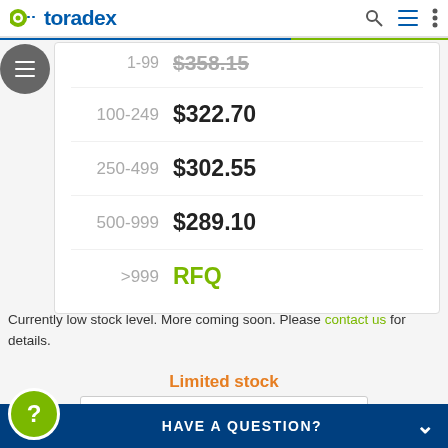Toradex
| Qty | Price |
| --- | --- |
| 1-99 | $358.15 |
| 100-249 | $322.70 |
| 250-499 | $302.55 |
| 500-999 | $289.10 |
| >999 | RFQ |
Currently low stock level. More coming soon. Please contact us for details.
Limited stock
1
HAVE A QUESTION?